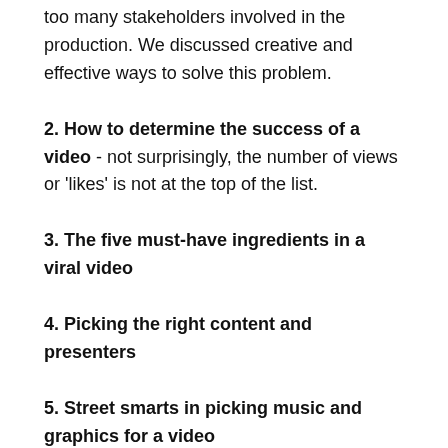too many stakeholders involved in the production. We discussed creative and effective ways to solve this problem.
2. How to determine the success of a video - not surprisingly, the number of views or 'likes' is not at the top of the list.
3. The five must-have ingredients in a viral video
4. Picking the right content and presenters
5. Street smarts in picking music and graphics for a video